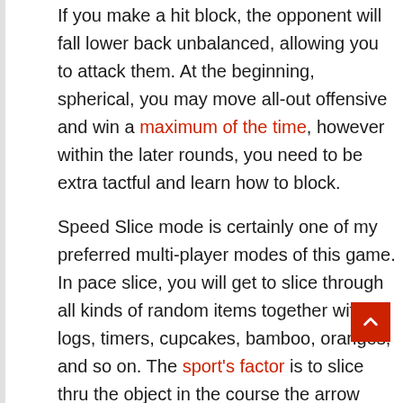If you make a hit block, the opponent will fall lower back unbalanced, allowing you to attack them. At the beginning, spherical, you may move all-out offensive and win a maximum of the time, however within the later rounds, you need to be extra tactful and learn how to block.
Speed Slice mode is certainly one of my preferred multi-player modes of this game. In pace slice, you will get to slice through all kinds of random items together with logs, timers, cupcakes, bamboo, oranges, and so on. The sport's factor is to slice thru the object in the course the arrow points the quickest. A judge will throw up an object at numerous speeds and whoever slices via the object in the correct direction first wins a point. The first to 10 factors win the fit. This is a brilliant one for the ci[…]of relatives and friends you will spend hours competing towards every different to a peer who has the quickest